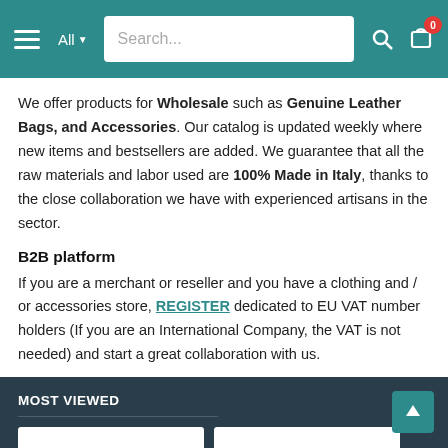Navigation bar with hamburger menu, All dropdown, Search field, search icon, and cart icon with badge 0
We offer products for Wholesale such as Genuine Leather Bags, and Accessories. Our catalog is updated weekly where new items and bestsellers are added. We guarantee that all the raw materials and labor used are 100% Made in Italy, thanks to the close collaboration we have with experienced artisans in the sector.
B2B platform
If you are a merchant or reseller and you have a clothing and / or accessories store, REGISTER dedicated to EU VAT number holders (If you are an International Company, the VAT is not needed) and start a great collaboration with us.
MOST VIEWED